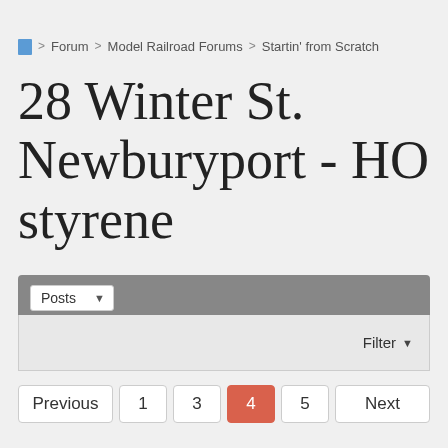Forum > Model Railroad Forums > Startin' from Scratch
28 Winter St. Newburyport - HO styrene
Posts (dropdown)
Filter
Previous  1  3  4  5  Next